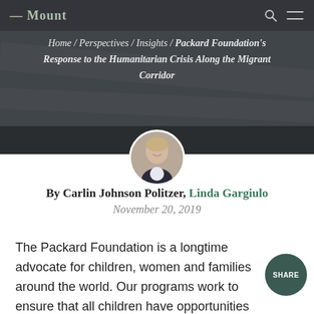[Figure (screenshot): Website hero banner with dark background and navigation bar showing logo and icons]
Home / Perspectives / Insights / Packard Foundation's Response to the Humanitarian Crisis Along the Migrant Corridor
[Figure (photo): Circular headshot of a woman in a dark jacket, smiling]
By Carlin Johnson Politzer, Linda Gargiulo
November 20, 2019
The Packard Foundation is a longtime advocate for children, women and families around the world. Our programs work to ensure that all children have opportunities that